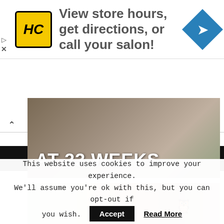[Figure (screenshot): Advertisement banner for HC (Hair Club or similar salon) logo in yellow/black, with text 'View store hours, get directions, or call your salon!' and a blue navigation diamond icon on the right. Skip/close controls on the left.]
[Figure (screenshot): Website navigation bar showing a collapse caret (^) button on the left.]
[Figure (screenshot): Black menu bar with hamburger icon and MENU text in white uppercase letters.]
[Figure (photo): Salon interior photo with text overlay 'AT 33 WEEKS' in large white bold letters.]
[Figure (photo): Close-up photo of a woman with red/auburn hair in a salon setting, with an owl decoration visible on the right wall.]
This website uses cookies to improve your experience. We'll assume you're ok with this, but you can opt-out if you wish.
Accept
Read More